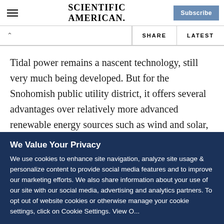SCIENTIFIC AMERICAN
Tidal power remains a nascent technology, still very much being developed. But for the Snohomish public utility district, it offers several advantages over relatively more advanced renewable energy sources such as wind and solar, said Craig Collar, the utility's senior energy resource development manager.
We Value Your Privacy
We use cookies to enhance site navigation, analyze site usage & personalize content to provide social media features and to improve our marketing efforts. We also share information about your use of our site with our social media, advertising and analytics partners. To opt out of website cookies or otherwise manage your cookie settings, click on Cookie Settings. View O...